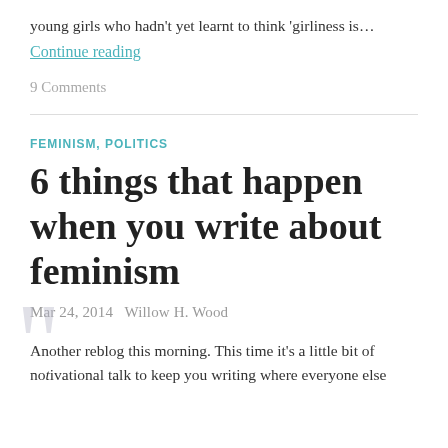young girls who hadn't yet learnt to think 'girliness is…
Continue reading
9 Comments
FEMINISM, POLITICS
6 things that happen when you write about feminism
Mar 24, 2014   Willow H. Wood
Another reblog this morning. This time it's a little bit of motivational talk to keep you writing where everyone else